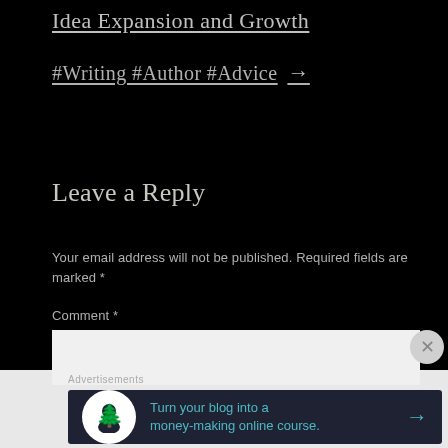Idea Expansion and Growth
#Writing #Author #Advice →
Leave a Reply
Your email address will not be published. Required fields are marked *
Comment *
Advertisements
Turn your blog into a money-making online course. →